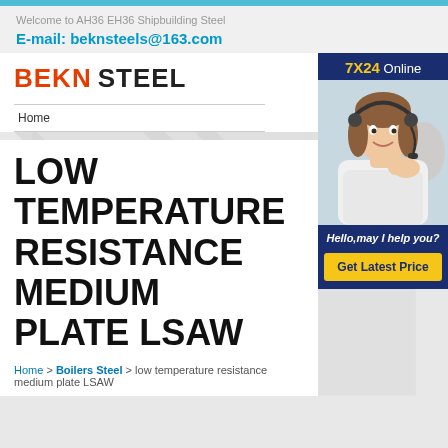Welcome to AH36 EH36 Shipbuilding Steel
E-mail: beknsteels@163.com
[Figure (logo): BEKN STEEL company logo in red and black text]
Home
[Figure (photo): Customer service representative with headset, 7X24 Online banner, Hello may I help you? and Get Latest Price button]
LOW TEMPERATURE RESISTANCE MEDIUM PLATE LSAW
Home > Boilers Steel > low temperature resistance medium plate LSAW